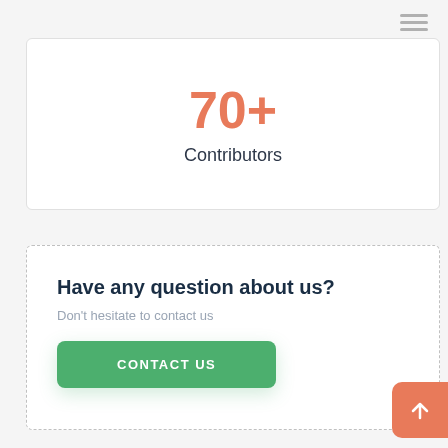[Figure (other): Hamburger menu icon with three horizontal lines in top right corner]
70+
Contributors
Have any question about us?
Don't hesitate to contact us
CONTACT US
[Figure (other): Back to top button with upward arrow icon, orange/salmon colored, positioned at bottom right]